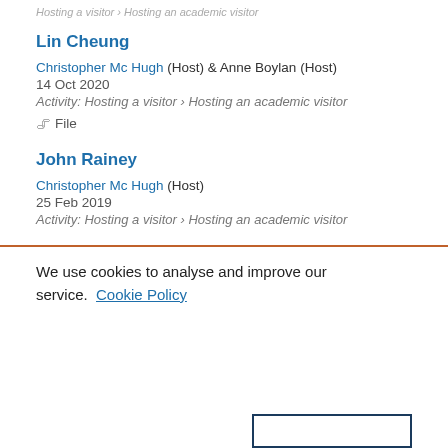Hosting a visitor › Hosting an academic visitor
Lin Cheung
Christopher Mc Hugh (Host) & Anne Boylan (Host)
14 Oct 2020
Activity: Hosting a visitor › Hosting an academic visitor
File
John Rainey
Christopher Mc Hugh (Host)
25 Feb 2019
Activity: Hosting a visitor › Hosting an academic visitor
We use cookies to analyse and improve our service. Cookie Policy